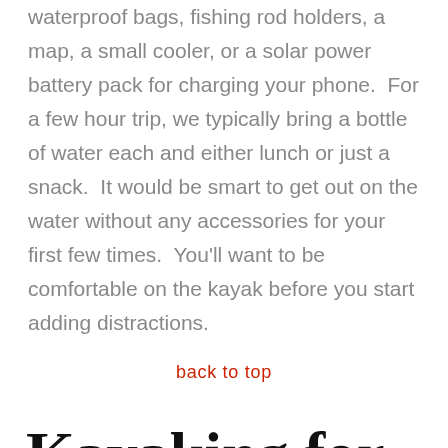waterproof bags, fishing rod holders, a map, a small cooler, or a solar power battery pack for charging your phone.  For a few hour trip, we typically bring a bottle of water each and either lunch or just a snack.  It would be smart to get out on the water without any accessories for your first few times.  You'll want to be comfortable on the kayak before you start adding distractions.
back to top
Kayaking for